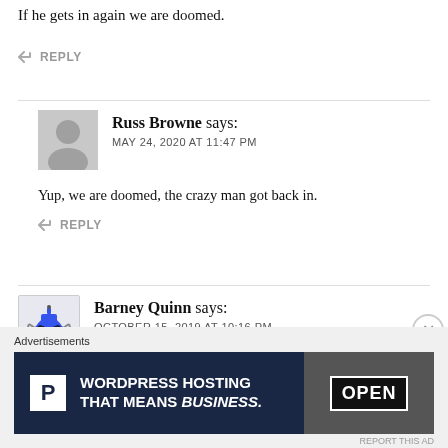If he gets in again we are doomed.
↩ REPLY
Russ Browne says:
MAY 24, 2020 AT 11:47 PM
Yup, we are doomed, the crazy man got back in.
↩ REPLY
Barney Quinn says:
OCTOBER 15, 2019 AT 10:16 PM
Advertisements
[Figure (infographic): WordPress Hosting ad banner: dark navy background with white P logo box and text 'WORDPRESS HOSTING THAT MEANS BUSINESS.' with an OPEN sign photo on the right]